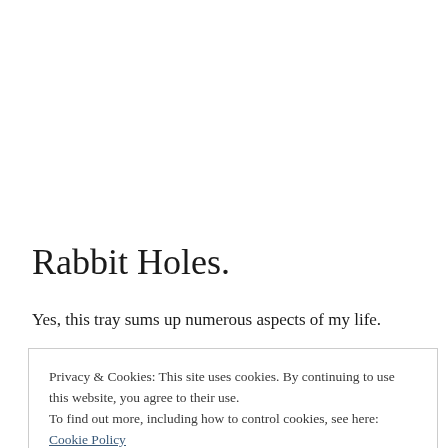Rabbit Holes.
Yes, this tray sums up numerous aspects of my life.
Privacy & Cookies: This site uses cookies. By continuing to use this website, you agree to their use.
To find out more, including how to control cookies, see here: Cookie Policy
Close and accept